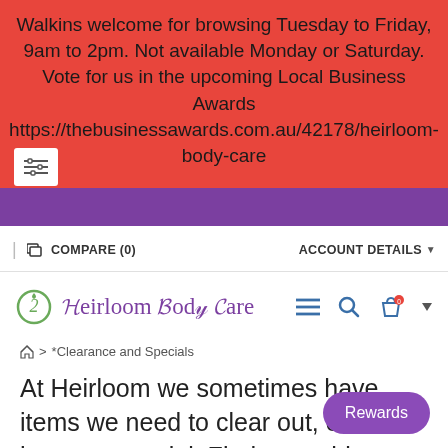Walkins welcome for browsing Tuesday to Friday, 9am to 2pm. Not available Monday or Saturday. Vote for us in the upcoming Local Business Awards https://thebusinessawards.com.au/42178/heirloom-body-care
COMPARE (0)   ACCOUNT DETAILS
[Figure (logo): Heirloom Body Care logo with decorative script text and circular emblem]
⌂ > *Clearance and Specials
At Heirloom we sometimes have items we need to clear out, or have on special. Find something wonderful today.